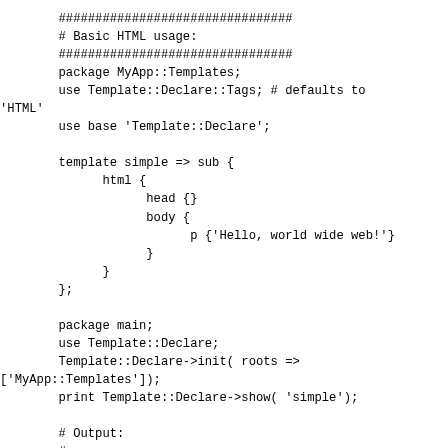################################
# Basic HTML usage:
################################
package MyApp::Templates;
use Template::Declare::Tags; # defaults to 'HTML'
        use base 'Template::Declare';

        template simple => sub {
              html {
                    head {}
                    body {
                          p {'Hello, world wide web!'}
                    }
              }
        };

        package main;
        use Template::Declare;
        Template::Declare->init( roots =>
['MyApp::Templates']);
        print Template::Declare->show( 'simple');

        # Output:
        #
        #
        # <html>
        #  <head></head>
        #  <body>
        #   <p>Hello, world wide web!